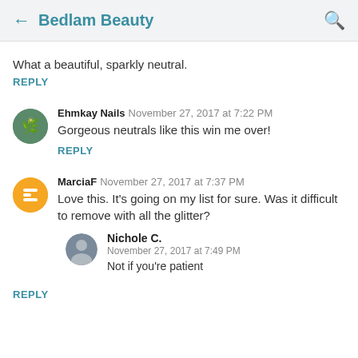← Bedlam Beauty
What a beautiful, sparkly neutral.
REPLY
Ehmkay Nails  November 27, 2017 at 7:22 PM
Gorgeous neutrals like this win me over!
REPLY
MarciaF  November 27, 2017 at 7:37 PM
Love this. It's going on my list for sure. Was it difficult to remove with all the glitter?
Nichole C.
November 27, 2017 at 7:49 PM
Not if you're patient
REPLY